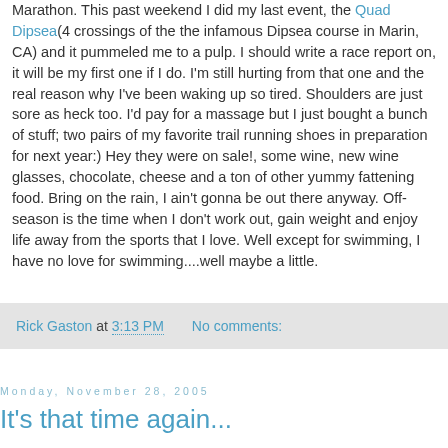Marathon. This past weekend I did my last event, the Quad Dipsea(4 crossings of the the infamous Dipsea course in Marin, CA) and it pummeled me to a pulp. I should write a race report on, it will be my first one if I do. I'm still hurting from that one and the real reason why I've been waking up so tired. Shoulders are just sore as heck too. I'd pay for a massage but I just bought a bunch of stuff; two pairs of my favorite trail running shoes in preparation for next year:) Hey they were on sale!, some wine, new wine glasses, chocolate, cheese and a ton of other yummy fattening food. Bring on the rain, I ain't gonna be out there anyway. Off-season is the time when I don't work out, gain weight and enjoy life away from the sports that I love. Well except for swimming, I have no love for swimming....well maybe a little.
Rick Gaston at 3:13 PM   No comments:
Monday, November 28, 2005
It's that time again...